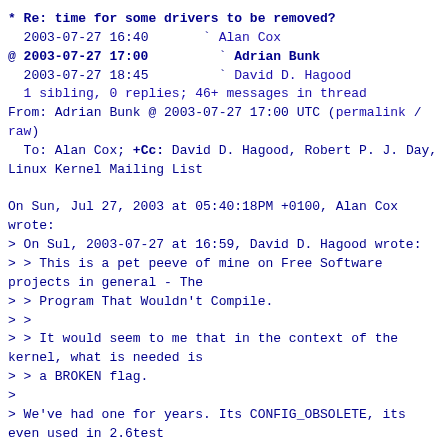* Re: time for some drivers to be removed?
  2003-07-27 16:40       ` Alan Cox
@ 2003-07-27 17:00         ` Adrian Bunk
  2003-07-27 18:45         ` David D. Hagood
  1 sibling, 0 replies; 46+ messages in thread
From: Adrian Bunk @ 2003-07-27 17:00 UTC (permalink / raw)
  To: Alan Cox; +Cc: David D. Hagood, Robert P. J. Day, Linux Kernel Mailing List

On Sun, Jul 27, 2003 at 05:40:18PM +0100, Alan Cox wrote:
> On Sul, 2003-07-27 at 16:59, David D. Hagood wrote:
> > This is a pet peeve of mine on Free Software projects in general - The
> > Program That Wouldn't Compile.
> >
> > It would seem to me that in the context of the kernel, what is needed is
> > a BROKEN flag.
>
> We've had one for years. Its CONFIG_OBSOLETE, its even used in 2.6test

Disclaimer:
I'm not a native English speaker.

In my ears, "obsolete" sounds like "there's something newer instead" and